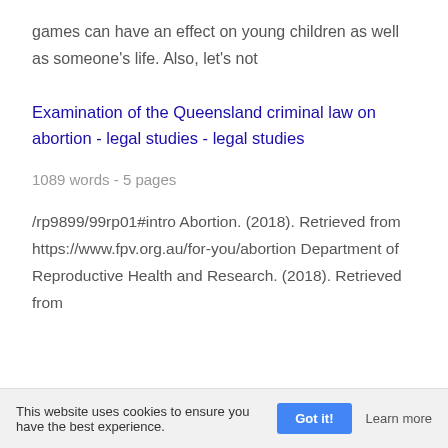games can have an effect on young children as well as someone's life. Also, let's not
Examination of the Queensland criminal law on abortion - legal studies - legal studies
1089 words - 5 pages
/rp9899/99rp01#intro Abortion. (2018). Retrieved from https://www.fpv.org.au/for-you/abortion Department of Reproductive Health and Research. (2018). Retrieved from
This website uses cookies to ensure you have the best experience.